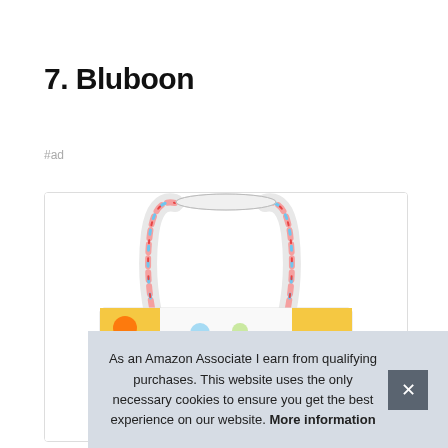7. Bluboon
#ad
[Figure (photo): A colorful patterned tote bag with white handles featuring multicolored print design]
As an Amazon Associate I earn from qualifying purchases. This website uses the only necessary cookies to ensure you get the best experience on our website. More information